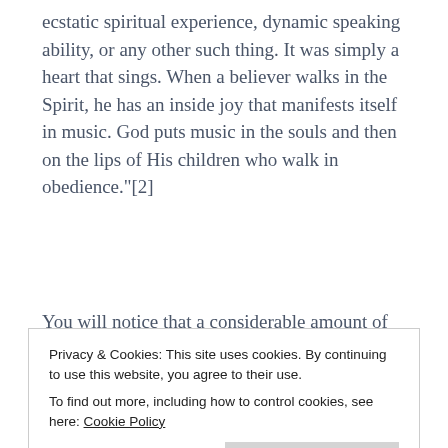ecstatic spiritual experience, dynamic speaking ability, or any other such thing. It was simply a heart that sings. When a believer walks in the Spirit, he has an inside joy that manifests itself in music. God puts music in the souls and then on the lips of His children who walk in obedience."[2]
You will notice that a considerable amount of
Privacy & Cookies: This site uses cookies. By continuing to use this website, you agree to their use.
To find out more, including how to control cookies, see here: Cookie Policy
frankly, some folks are very much caught up in